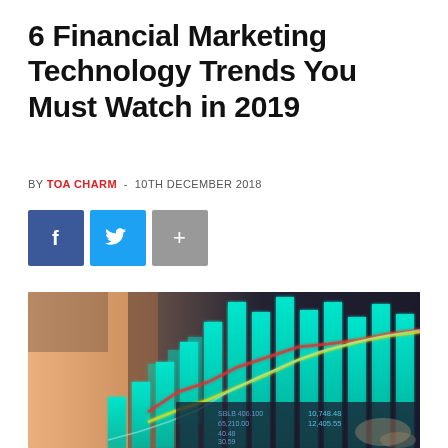6 Financial Marketing Technology Trends You Must Watch in 2019
BY TOA CHARM - 10TH DECEMBER 2018
[Figure (other): Three social sharing buttons: Facebook (blue, f icon), Twitter (light blue, bird icon), and a grey plus/share button]
[Figure (photo): Hero image showing a business professional using a tablet with overlaid financial bar charts and line graphs in teal/cyan colors, along with financial data numbers visible in the lower right corner]